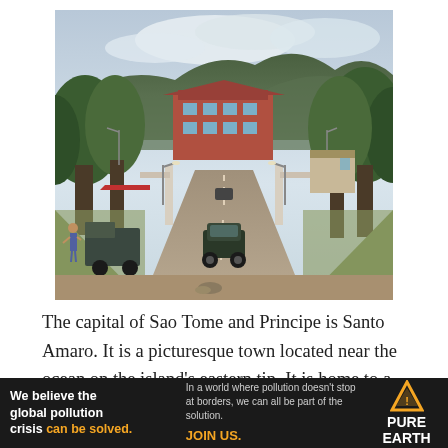[Figure (photo): Aerial street-level view of Santo Amaro, Sao Tome and Principe. A wide road leads uphill toward a large red-brick colonial-style building. Trees line both sides of the road, street lights are visible, vehicles (including a dark SUV) are on the road. Green forested mountains with clouds in the background.]
The capital of Sao Tome and Principe is Santo Amaro. It is a picturesque town located near the ocean on the island's eastern tip. It is home to a popular resort, the
[Figure (infographic): Advertisement banner for Pure Earth. Left section: 'We believe the global pollution crisis can be solved.' (can be solved in orange). Middle section: 'In a world where pollution doesn't stop at borders, we can all be part of the solution. JOIN US.' (JOIN US in orange). Right section: Pure Earth logo with orange triangle/diamond warning symbol and white text 'PURE EARTH'.]